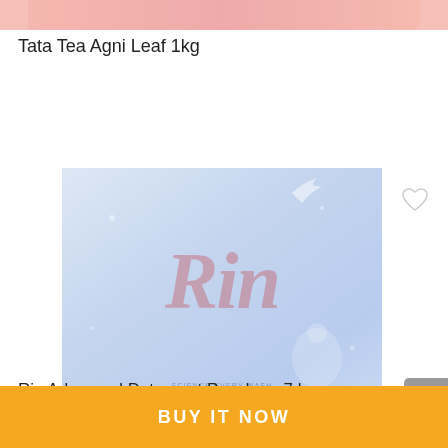[Figure (photo): Partial top strip showing previous product image (Tata Tea Agni Leaf) in pink/salmon tones]
Tata Tea Agni Leaf 1kg
[Figure (photo): Product image of Rin Advanced Detergent Powder 7kg package. Blue and white packaging with red Rin logo, a bird, and a person in white clothes shown on front.]
Rin Advanced Detergent Powder – 7 kg
Rs. 441
BUY IT NOW